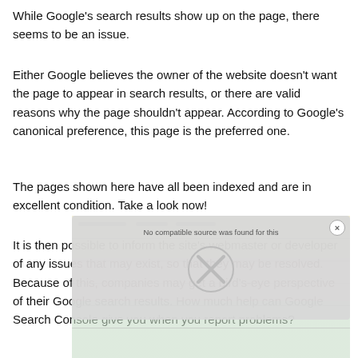While Google's search results show up on the page, there seems to be an issue.
Either Google believes the owner of the website doesn't want the page to appear in search results, or there are valid reasons why the page shouldn't appear. According to Google's canonical preference, this page is the preferred one.
The pages shown here have all been indexed and are in excellent condition. Take a look now!
It is then possible to inform the site's webmaster or developer of any issues that may exist, so that they may be resolved. Because of this, companies may get a bird's-eye perspective of their Google search results. How much help can Google Search Console give you when you report problems?
[Figure (screenshot): A modal dialog with grey background showing 'No compatible source was found for this' text and an X close icon, overlaid on a screenshot of a Google Search Console interface showing a table with colored rows (yellow/red/green).]